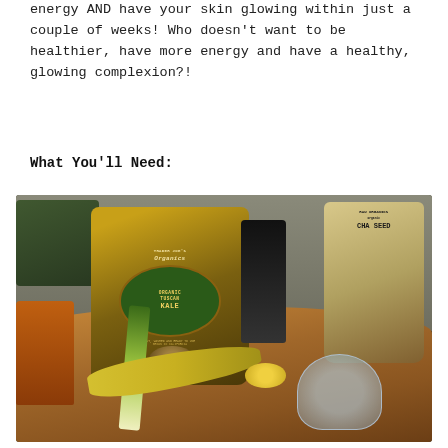energy AND have your skin glowing within just a couple of weeks! Who doesn't want to be healthier, have more energy and have a healthy, glowing complexion?!
What You'll Need:
[Figure (photo): Ingredients laid out on a wooden cutting board including a bag of Trader Joe's Organic Tuscan Kale, Raw Organics Organic Chia Seeds, a dark spice jar, banana, kiwi, leek/celery, lemon, glass citrus juicer, amber honey/spice jar, and a bag of greens in the background.]